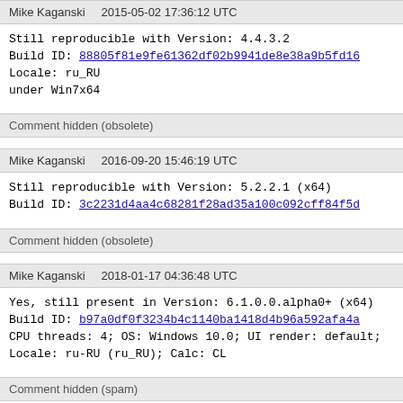Mike Kaganski    2015-05-02 17:36:12 UTC
Still reproducible with Version: 4.4.3.2
Build ID: 88805f81e9fe61362df02b9941de8e38a9b5fd16
Locale: ru_RU
under Win7x64
Comment hidden (obsolete)
Mike Kaganski    2016-09-20 15:46:19 UTC
Still reproducible with Version: 5.2.2.1 (x64)
Build ID: 3c2231d4aa4c68281f28ad35a100c092cff84f5d
Comment hidden (obsolete)
Mike Kaganski    2018-01-17 04:36:48 UTC
Yes, still present in Version: 6.1.0.0.alpha0+ (x64)
Build ID: b97a0df0f3234b4c1140ba1418d4b96a592afa4a
CPU threads: 4; OS: Windows 10.0; UI render: default;
Locale: ru-RU (ru_RU); Calc: CL
Comment hidden (spam)